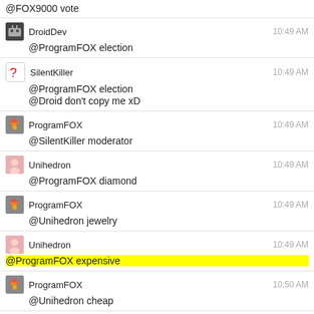@FOX9000 vote
DroidDev 10:49 AM
@ProgramFOX election
SilentKiller 10:49 AM
@ProgramFOX election
@Droid don't copy me xD
ProgramFOX 10:49 AM
@SilentKiller moderator
Unihedron 10:49 AM
@ProgramFOX diamond
ProgramFOX 10:49 AM
@Unihedron jewelry
Unihedron 10:49 AM
@ProgramFOX expensive
ProgramFOX 10:50 AM
@Unihedron cheap
SilentKiller 10:50 AM
@ProgramFOX costly